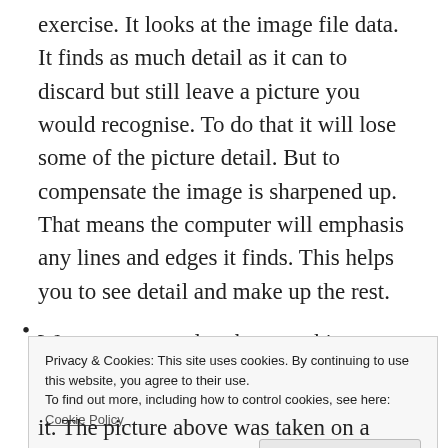exercise. It looks at the image file data. It finds as much detail as it can to discard but still leave a picture you would recognise. To do that it will lose some of the picture detail. But to compensate the image is sharpened up. That means the computer will emphasis any lines and edges it finds. This helps you to see detail and make up the rest.
We are very good at that – making up the rest. After all, every image we
Privacy & Cookies: This site uses cookies. By continuing to use this website, you agree to their use.
To find out more, including how to control cookies, see here: Cookie Policy
Close and accept
it. The picture above was taken on a